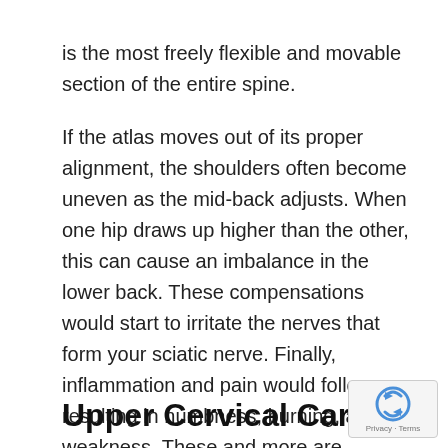is the most freely flexible and movable section of the entire spine.
If the atlas moves out of its proper alignment, the shoulders often become uneven as the mid-back adjusts. When one hip draws up higher than the other, this can cause an imbalance in the lower back. These compensations would start to irritate the nerves that form your sciatic nerve. Finally, inflammation and pain would follow, resulting in numbness, burning, and weakness. These and more are symptoms associated with sciatica.
Upper Cervical Care in